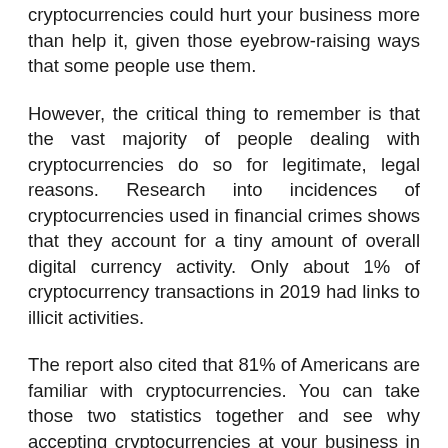cryptocurrencies could hurt your business more than help it, given those eyebrow-raising ways that some people use them.
However, the critical thing to remember is that the vast majority of people dealing with cryptocurrencies do so for legitimate, legal reasons. Research into incidences of cryptocurrencies used in financial crimes shows that they account for a tiny amount of overall digital currency activity. Only about 1% of cryptocurrency transactions in 2019 had links to illicit activities.
The report also cited that 81% of Americans are familiar with cryptocurrencies. You can take those two statistics together and see why accepting cryptocurrencies at your business in 2021 makes sense.
The chances of you directly encountering someone using cryptocurrency illegally are